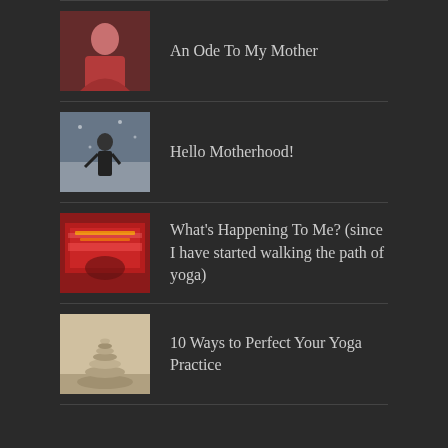An Ode To My Mother
Hello Motherhood!
What's Happening To Me? (since I have started walking the path of yoga)
10 Ways to Perfect Your Yoga Practice
FOLLOW US ON FACEBOOK